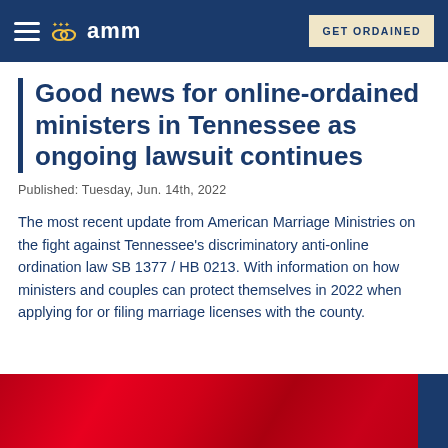amm — GET ORDAINED
Good news for online-ordained ministers in Tennessee as ongoing lawsuit continues
Published: Tuesday, Jun. 14th, 2022
The most recent update from American Marriage Ministries on the fight against Tennessee's discriminatory anti-online ordination law SB 1377 / HB 0213. With information on how ministers and couples can protect themselves in 2022 when applying for or filing marriage licenses with the county.
[Figure (photo): Red fabric or flag texture with a dark navy blue strip on the right edge]